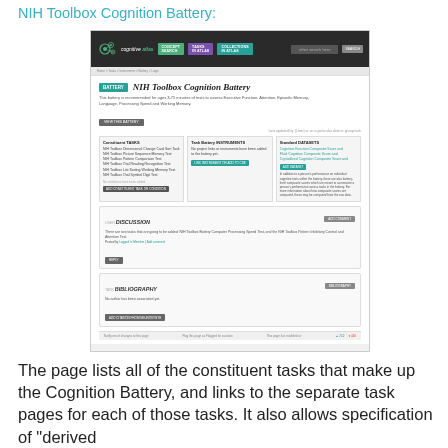NIH Toolbox Cognition Battery:
[Figure (screenshot): Screenshot of the Cognitive Atlas website showing the NIH Toolbox Cognition Battery page, with navigation bar, battery description, constituent tasks list, battery instruments, standard datasets sections, discussion section, and bibliography section.]
The page lists all of the constituent tasks that make up the Cognition Battery, and links to the separate task pages for each of those tasks.  It also allows specification of "derived